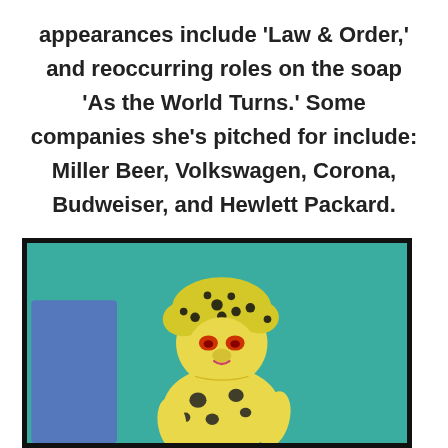appearances include 'Law & Order,' and reoccurring roles on the soap 'As the World Turns.' Some companies she's pitched for include: Miller Beer, Volkswagen, Corona, Budweiser, and Hewlett Packard.
[Figure (illustration): Animated cartoon illustration of a cheetah-like humanoid female character with yellow skin covered in black spots, wild yellow hair with black spots, orange/red eyes, set against a teal background with a blue element on the left.]